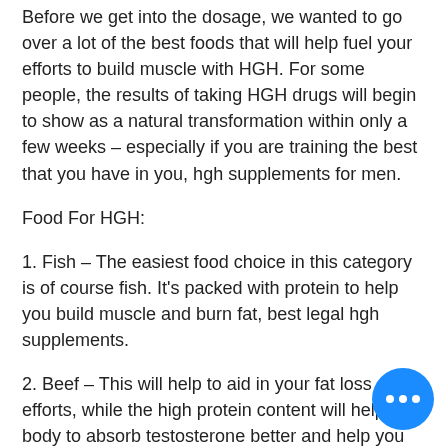Before we get into the dosage, we wanted to go over a lot of the best foods that will help fuel your efforts to build muscle with HGH. For some people, the results of taking HGH drugs will begin to show as a natural transformation within only a few weeks – especially if you are training the best that you have in you, hgh supplements for men.
Food For HGH:
1. Fish – The easiest food choice in this category is of course fish. It's packed with protein to help you build muscle and burn fat, best legal hgh supplements.
2. Beef – This will help to aid in your fat loss efforts, while the high protein content will help the body to absorb testosterone better and help you feel full longer, best hgh supplement canada.